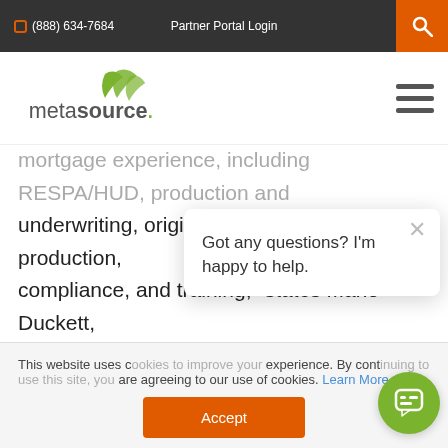(888) 634-7684  Partner Portal Login
[Figure (logo): MetaSource logo with green stylized leaves above the text 'metasource.']
mortgage experience, including RESPA/HUD, production and underwriting, origination, national wholesale production, compliance, and training,” states Mario Duckett, MetaSource’s VP of Strategic Marketing. “The combination of MCA’s extensive mortgage audit experience and MetaSource’s Business Process Outsourcing (BPO), Business Process Management (BPM) and Enterprise Co... workflow solutions will en...
Got any questions? I’m happy to help.
This website uses c... experience. By cont... are agreeing to our use of cookies. Learn More
Accept